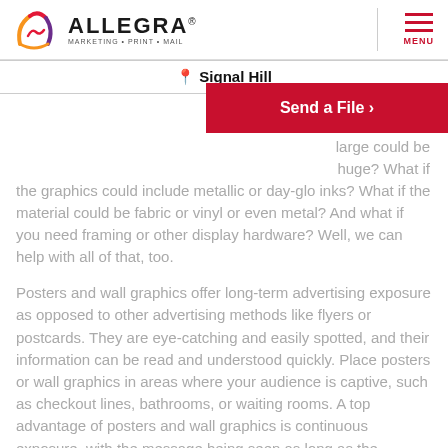[Figure (logo): Allegra Marketing Print Mail logo with stylized A icon in orange, red, purple]
Signal Hill
Send a File ›
large could be huge? What if the graphics could include metallic or day-glo inks? What if the material could be fabric or vinyl or even metal? And what if you need framing or other display hardware? Well, we can help with all of that, too.
Posters and wall graphics offer long-term advertising exposure as opposed to other advertising methods like flyers or postcards. They are eye-catching and easily spotted, and their information can be read and understood quickly. Place posters or wall graphics in areas where your audience is captive, such as checkout lines, bathrooms, or waiting rooms. A top advantage of posters and wall graphics is continuous exposure, with the message being seen as long as the graphics is up, and many people likely seeing it repeatedly.